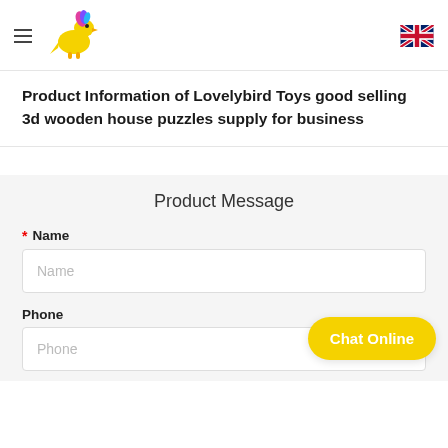Lovelybird Toys — navigation header with logo and UK flag
Product Information of Lovelybird Toys good selling 3d wooden house puzzles supply for business
Product Message
* Name
Phone
Chat Online